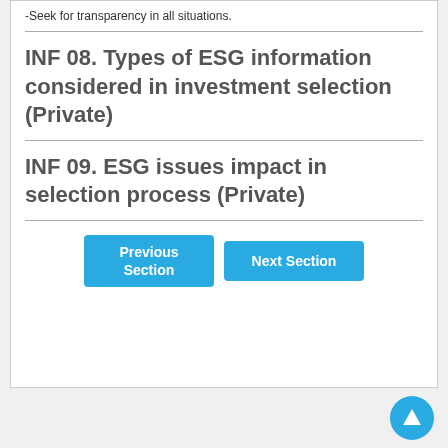-Seek for transparency in all situations.
INF 08. Types of ESG information considered in investment selection (Private)
INF 09. ESG issues impact in selection process (Private)
Previous Section | Next Section